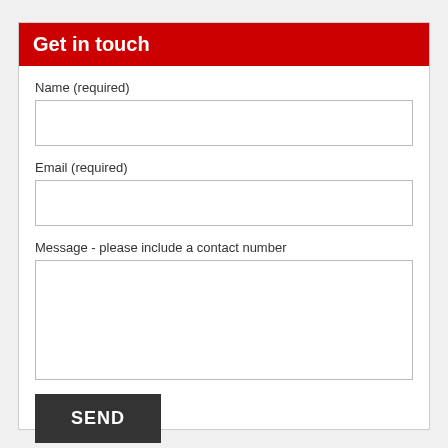Get in touch
Name (required)
Email (required)
Message - please include a contact number
SEND